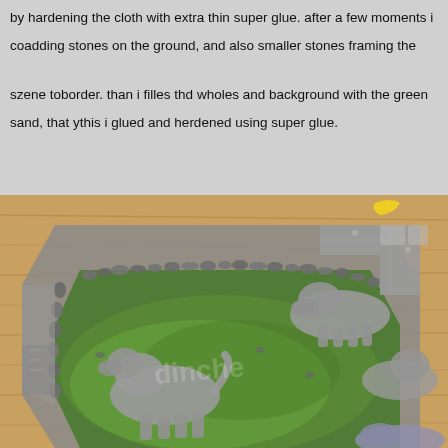by hardening the cloth with extra thin super glue. after a few moments i continued adding stones on the ground, and also smaller stones framing the szene to create a border.  than i filles thd wholes and background with the green sand, that y... this i glued and herdened using super glue.
[Figure (photo): A photograph of a miniature wargaming hex base/tile placed on a wooden table surface. The hex tile contains grey unpainted miniature animal figures (wolves or similar creatures) arranged on a green flock/sand ground with small stones bordering the edge. A yellow crescent shape is visible at the top. The scene appears to be a tabletop gaming diorama in progress.]